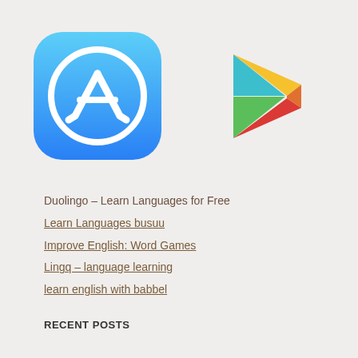[Figure (logo): Apple App Store logo — blue rounded square with white circle and white stylized 'A' pencil icon]
[Figure (logo): Google Play Store logo — multicolored play triangle in cyan, green, yellow/orange, and red]
Duolingo – Learn Languages for Free
Learn Languages busuu
Improve English: Word Games
Lingq – language learning
learn english with babbel
RECENT POSTS